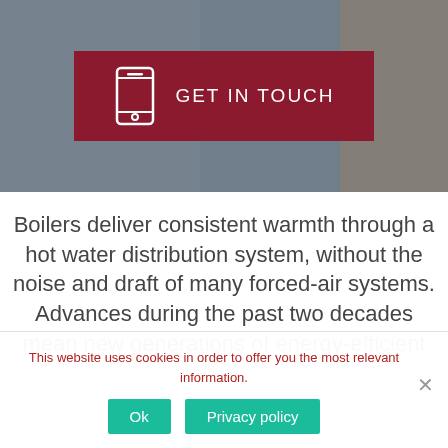[Figure (photo): Hero banner with a blurred background photo of a person near heating equipment, overlaid with a dark tint]
GET IN TOUCH
Boilers deliver consistent warmth through a hot water distribution system, without the noise and draft of many forced-air systems. Advances during the past two decades mean new generations of energy-efficient
This website uses cookies in order to offer you the most relevant information.